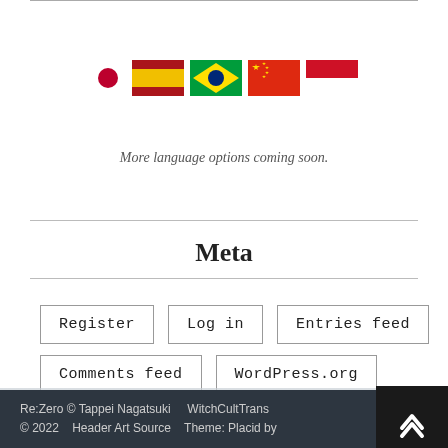[Figure (illustration): Row of country flag icons: Japan (red circle on white), Spain, Brazil, China, Indonesia]
More language options coming soon.
Meta
Register
Log in
Entries feed
Comments feed
WordPress.org
Re:Zero © Tappei Nagatsuki    WitchCultTrans...s    © 2022    Header Art Source    Theme: Placid by